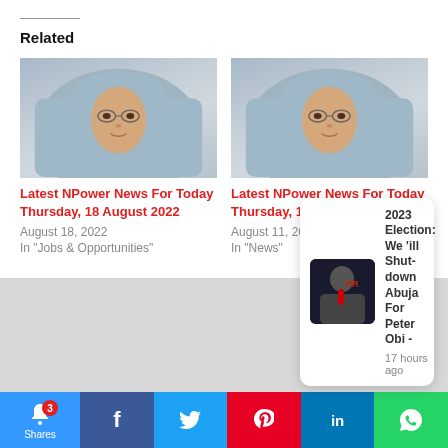Related
[Figure (photo): Photo of a woman wearing a light blue hijab and glasses, portrait style]
Latest NPower News For Today Thursday, 18 August 2022
August 18, 2022
In "Jobs & Opportunities"
[Figure (photo): Photo of a woman wearing a light blue hijab and glasses, portrait style]
Latest NPower News For Today Thursday, 11 August 2022
August 11, 2022
In "News"
[Figure (photo): Notification popup showing a man at a podium with 'PR' text visible behind him]
2023 Election: We 'ill Shutdown Abuja For Peter Obi -
17 hours ago